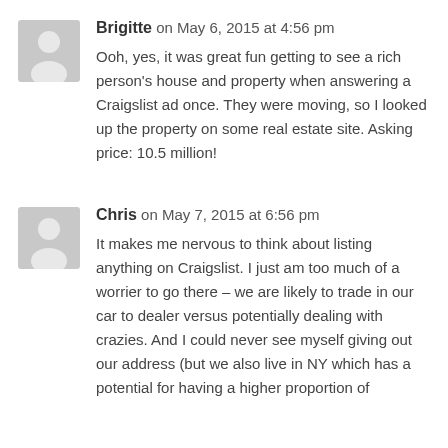[Figure (illustration): Gray avatar silhouette icon for user Brigitte]
Brigitte on May 6, 2015 at 4:56 pm
Ooh, yes, it was great fun getting to see a rich person's house and property when answering a Craigslist ad once. They were moving, so I looked up the property on some real estate site. Asking price: 10.5 million!
[Figure (illustration): Gray avatar silhouette icon for user Chris]
Chris on May 7, 2015 at 6:56 pm
It makes me nervous to think about listing anything on Craigslist. I just am too much of a worrier to go there – we are likely to trade in our car to dealer versus potentially dealing with crazies. And I could never see myself giving out our address (but we also live in NY which has a potential for having a higher proportion of